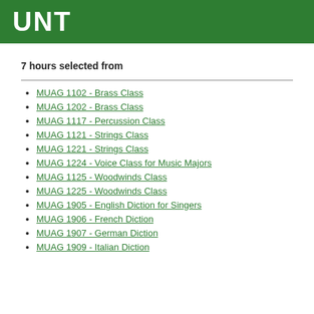UNT
7 hours selected from
MUAG 1102 - Brass Class
MUAG 1202 - Brass Class
MUAG 1117 - Percussion Class
MUAG 1121 - Strings Class
MUAG 1221 - Strings Class
MUAG 1224 - Voice Class for Music Majors
MUAG 1125 - Woodwinds Class
MUAG 1225 - Woodwinds Class
MUAG 1905 - English Diction for Singers
MUAG 1906 - French Diction
MUAG 1907 - German Diction
MUAG 1909 - Italian Diction